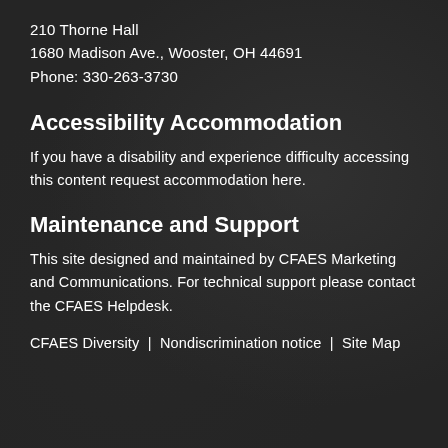210 Thorne Hall
1680 Madison Ave., Wooster, OH 44691
Phone: 330-263-3730
Accessibility Accommodation
If you have a disability and experience difficulty accessing this content request accommodation here.
Maintenance and Support
This site designed and maintained by CFAES Marketing and Communications. For technical support please contact the CFAES Helpdesk.
CFAES Diversity  |  Nondiscrimination notice  |  Site Map